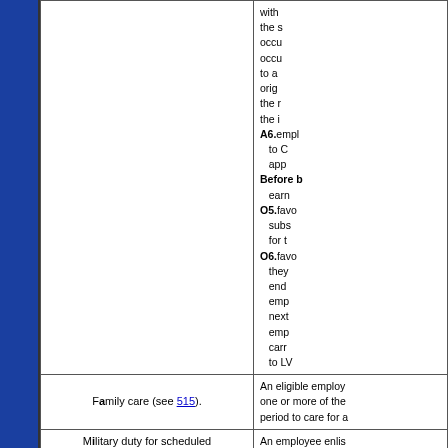| Type of Leave | Description/Conditions |
| --- | --- |
|  | with the s-occurrence, occur-, occur-, to a-orig-, the r-, the i-
A6. empl- to C- app-
Before b- earn-
O5. favo- subs- for t-
O6. favo- they- end- emp- next- emp- carr- to LV- |
| Family care (see 515). | An eligible employ- one or more of the period to care for a |
| Military duty for scheduled drills or for periods of training. | An employee enlis- months or more th- |
| Military duty for any | Eligible members o- other purposes, fo- |